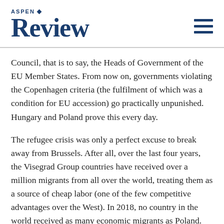Aspen Review
Council, that is to say, the Heads of Government of the EU Member States. From now on, governments violating the Copenhagen criteria (the fulfilment of which was a condition for EU accession) go practically unpunished. Hungary and Poland prove this every day.
The refugee crisis was only a perfect excuse to break away from Brussels. After all, over the last four years, the Visegrad Group countries have received over a million migrants from all over the world, treating them as a source of cheap labor (one of the few competitive advantages over the West). In 2018, no country in the world received as many economic migrants as Poland.
Central European populists, in contrast to Central